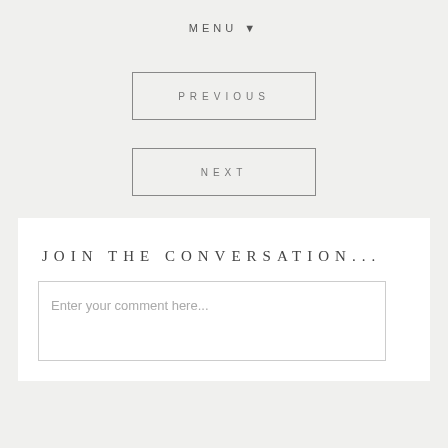MENU ▼
PREVIOUS
NEXT
JOIN THE CONVERSATION...
Enter your comment here...